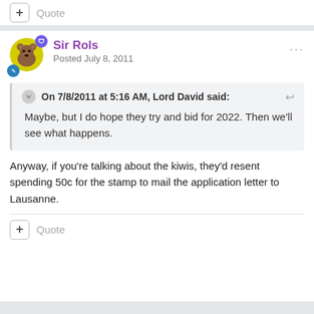+ Quote
Sir Rols
Posted July 8, 2011
On 7/8/2011 at 5:16 AM, Lord David said:
Maybe, but I do hope they try and bid for 2022. Then we'll see what happens.
Anyway, if you're talking about the kiwis, they'd resent spending 50c for the stamp to mail the application letter to Lausanne.
+ Quote